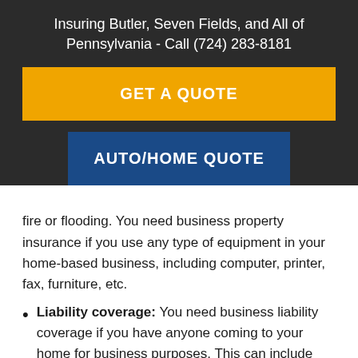Insuring Butler, Seven Fields, and All of Pennsylvania - Call (724) 283-8181
GET A QUOTE
AUTO/HOME QUOTE
fire or flooding. You need business property insurance if you use any type of equipment in your home-based business, including computer, printer, fax, furniture, etc.
Liability coverage: You need business liability coverage if you have anyone coming to your home for business purposes. This can include clients, contractors, and any person making a delivery to